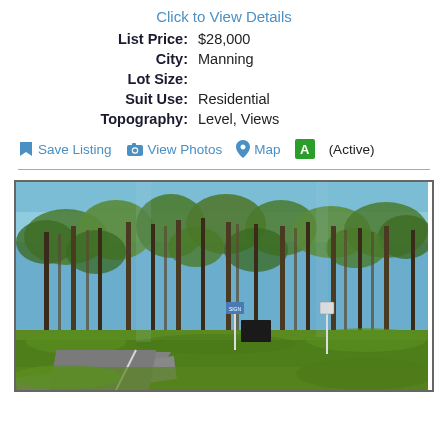Click to View Details
| List Price: | $28,000 |
| City: | Manning |
| Lot Size: |  |
| Suit Use: | Residential |
| Topography: | Level, Views |
Save Listing  View Photos  Map  A (Active)
[Figure (photo): Photograph of a wooded lot with tall pine trees, green grass, a road intersection, and signage visible. Clear blue sky visible through the tree canopy.]